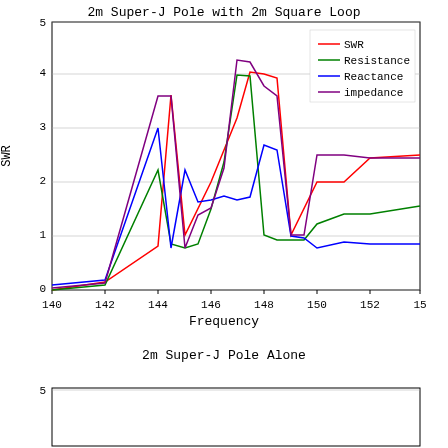[Figure (continuous-plot): Line chart showing SWR (red), Resistance (green), Reactance (blue), and impedance (purple) vs Frequency (140–154 MHz). SWR peaks ~3.65 near 144.5, dips to ~0.85 near 145.5, peaks again ~3.2 near 147.5, then declines to ~1.5. Resistance peaks ~4.0 near 147, dips low near 144.5 and 149. Reactance peaks ~1.65 near 146, dips to ~0.5 near 150. Impedance (purple) peaks ~4.3 near 147, drops low near 145.8 and 150.]
2m Super-J Pole Alone
[Figure (continuous-plot): Partial view of a second line chart (cropped at bottom of page) showing beginning of frequency vs SWR/impedance plot for 2m Super-J Pole Alone.]